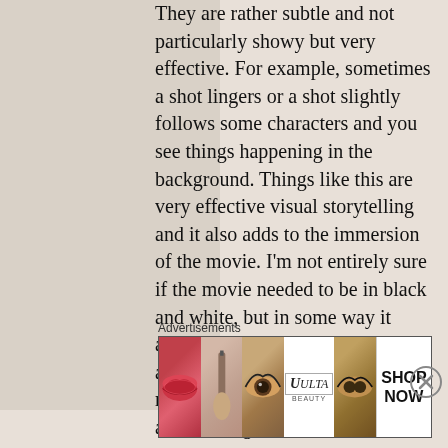They are rather subtle and not particularly showy but very effective. For example, sometimes a shot lingers or a shot slightly follows some characters and you see things happening in the background. Things like this are very effective visual storytelling and it also adds to the immersion of the movie. I'm not entirely sure if the movie needed to be in black and white, but in some way it actually kind of worked. Roma is a Netflix movie but has gotten so much acclaim that some cinemas are showing
Advertisements
[Figure (photo): Advertisements banner with beauty/makeup images: lips with red lipstick, makeup brush, eye with eyeshadow, ULTA Beauty logo, eyes with makeup, and SHOP NOW text]